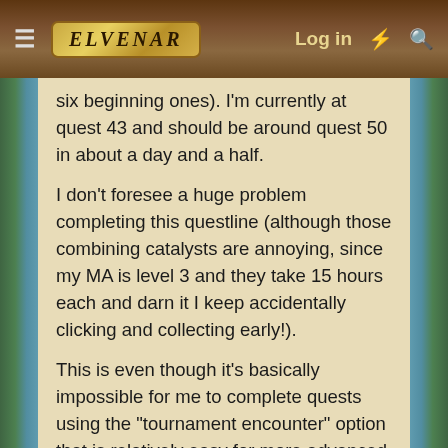Elvenar — Log in
six beginning ones). I'm currently at quest 43 and should be around quest 50 in about a day and a half.
I don't foresee a huge problem completing this questline (although those combining catalysts are annoying, since my MA is level 3 and they take 15 hours each and darn it I keep accidentally clicking and collecting early!).
This is even though it's basically impossible for me to complete quests using the "tournament encounter" option that is relatively easy for more advanced players. I just don't have enough encounters (currently have 4 provinces of the current tournament unlocked; I had 2 when the tournament and event started). So I use the tournament to get relics and spells, but I complete encounters on the map for relatively low cost. And the scouting quests are easy peasy, since scouts take me about 30 minutes.
HOWEVER this is because at the beginning of the event I had 26 completed provinces, and about 30 provinces total